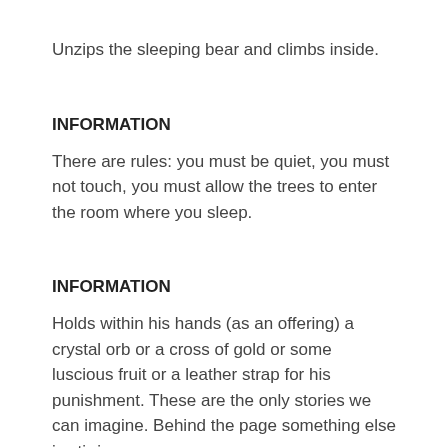Unzips the sleeping bear and climbs inside.
INFORMATION
There are rules: you must be quiet, you must not touch, you must allow the trees to enter the room where you sleep.
INFORMATION
Holds within his hands (as an offering) a crystal orb or a cross of gold or some luscious fruit or a leather strap for his punishment. These are the only stories we can imagine. Behind the page something else is stirring.